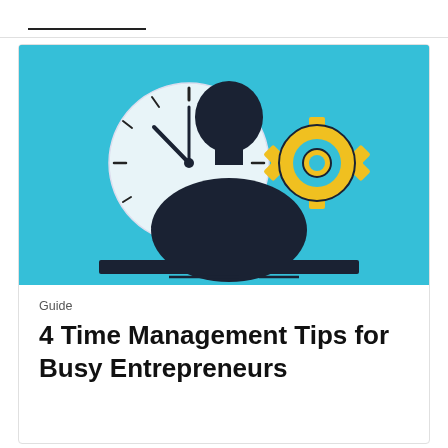[Figure (illustration): Illustration on a teal/cyan background showing a dark silhouette of a person from the shoulders up, with a large white clock behind/to the left of the figure showing approximately 10:10 time, and a yellow gear icon to the right of the figure. The scene is set on a simple flat surface with two small horizontal lines beneath the figure.]
Guide
4 Time Management Tips for Busy Entrepreneurs